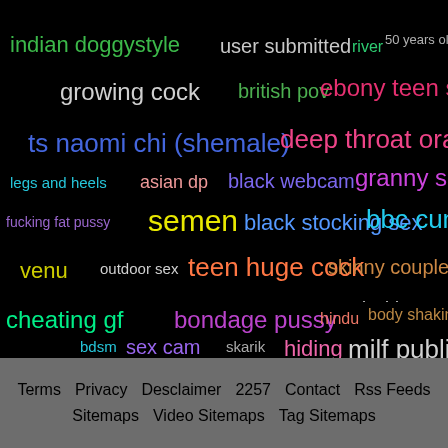[Figure (infographic): Tag cloud on black background with various colored search terms in different font sizes]
Terms  Privacy  Desclaimer  2257  Contact  Rss Feeds  Sitemaps  Video Sitemaps  Tag Sitemaps